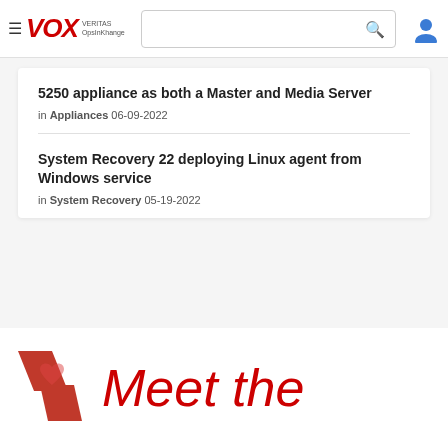VOX VERITAS OpsInKhange - navigation header with search
5250 appliance as both a Master and Media Server
in Appliances 06-09-2022
System Recovery 22 deploying Linux agent from Windows service
in System Recovery 05-19-2022
[Figure (logo): Veritas/VOX community promo logo with red angular shapes and Meet the text]